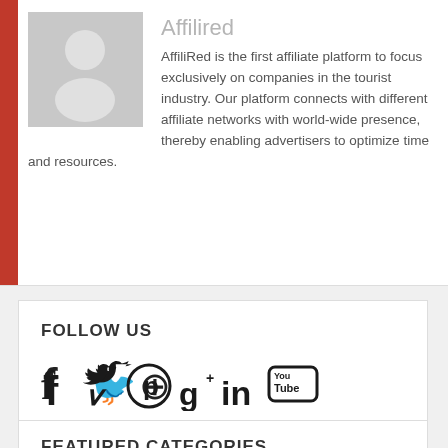Affilired
AffiliRed is the first affiliate platform to focus exclusively on companies in the tourist industry. Our platform connects with different affiliate networks with world-wide presence, thereby enabling advertisers to optimize time and resources.
FOLLOW US
[Figure (infographic): Social media icons: Facebook, Twitter, Pinterest, Google+, LinkedIn, YouTube]
FEATURED CATEGORIES
ELECTRONICS